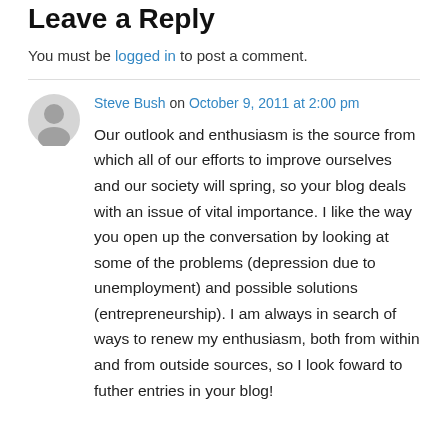Leave a Reply
You must be logged in to post a comment.
Steve Bush on October 9, 2011 at 2:00 pm

Our outlook and enthusiasm is the source from which all of our efforts to improve ourselves and our society will spring, so your blog deals with an issue of vital importance. I like the way you open up the conversation by looking at some of the problems (depression due to unemployment) and possible solutions (entrepreneurship). I am always in search of ways to renew my enthusiasm, both from within and from outside sources, so I look foward to futher entries in your blog!